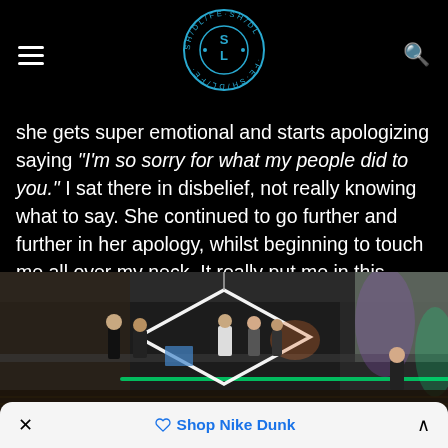SL (SHIDLIFE logo)
she gets super emotional and starts apologizing saying "I'm so sorry for what my people did to you." I sat there in disbelief, not really knowing what to say. She continued to go further and further in her apology, whilst beginning to touch me all over my neck. It really put me in this weird space.
[Figure (photo): Indoor venue/bar scene with geometric LED light fixture suspended from ceiling, people gathered on a raised platform/mezzanine level, purple and green accent lighting visible.]
Shop Nike Dunk